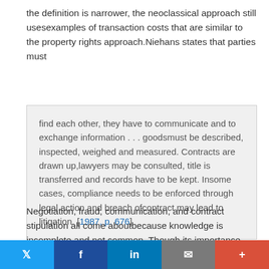the definition is narrower, the neoclassical approach still usesexamples of transaction costs that are similar to the property rights approach.Niehans states that parties must
find each other, they have to communicate and to exchange information . . . goodsmust be described, inspected, weighed and measured. Contracts are drawn up,lawyers may be consulted, title is transferred and records have to be kept. Insome cases, compliance needs to be enforced through legal action and breach ofcontract may lead to litigation. [1987, p. 676]
Negotiation, fraud, communication, and contract stipulation all come aboutbecause knowledge is incomplete and not common. Though its importance